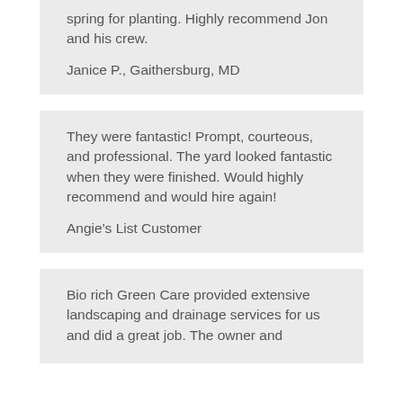spring for planting. Highly recommend Jon and his crew.
Janice P., Gaithersburg, MD
They were fantastic! Prompt, courteous, and professional. The yard looked fantastic when they were finished. Would highly recommend and would hire again!
Angie's List Customer
Bio rich Green Care provided extensive landscaping and drainage services for us and did a great job. The owner and